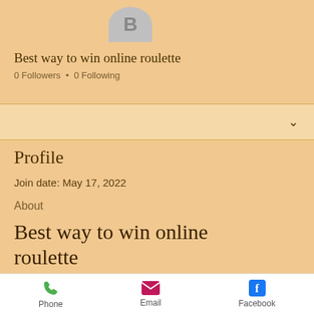[Figure (illustration): Partial avatar circle with letter B, cropped at top]
Best way to win online roulette
0 Followers • 0 Following
[Figure (other): Dropdown bar with chevron icon]
Profile
Join date: May 17, 2022
About
Best way to win online roulette
Phone   Email   Facebook